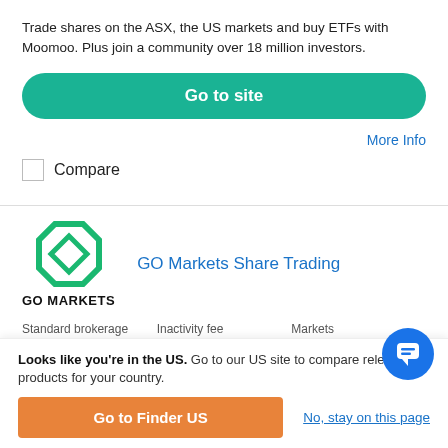Trade shares on the ASX, the US markets and buy ETFs with Moomoo. Plus join a community over 18 million investors.
Go to site
More Info
Compare
[Figure (logo): GO Markets logo: green octagon outline with diamond inside, bold text GO MARKETS below]
GO Markets Share Trading
| Standard brokerage fee | Inactivity fee | Markets |
| --- | --- | --- |
|  | No | ASX shares, Forex, |
Looks like you're in the US. Go to our US site to compare relevant products for your country.
Go to Finder US
No, stay on this page